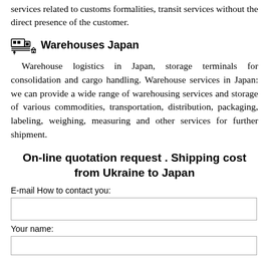services related to customs formalities, transit services without the direct presence of the customer.
Warehouses Japan
Warehouse logistics in Japan, storage terminals for consolidation and cargo handling. Warehouse services in Japan: we can provide a wide range of warehousing services and storage of various commodities, transportation, distribution, packaging, labeling, weighing, measuring and other services for further shipment.
On-line quotation request . Shipping cost from Ukraine to Japan
E-mail How to contact you:
Your name: